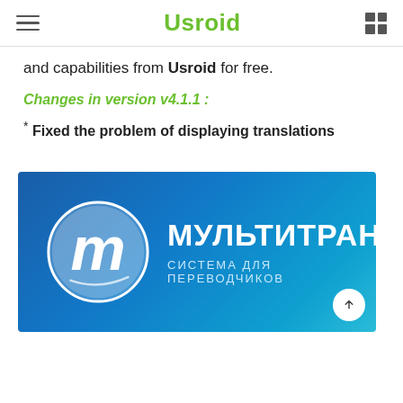Usroid
and capabilities from Usroid for free.
Changes in version v4.1.1 :
* Fixed the problem of displaying translations
[Figure (logo): Multitran logo — blue gradient background with white circular 'm' logo and Cyrillic text МУЛЬТИТРАН / СИСТЕМА ДЛЯ ПЕРЕВОДЧИКОВ]